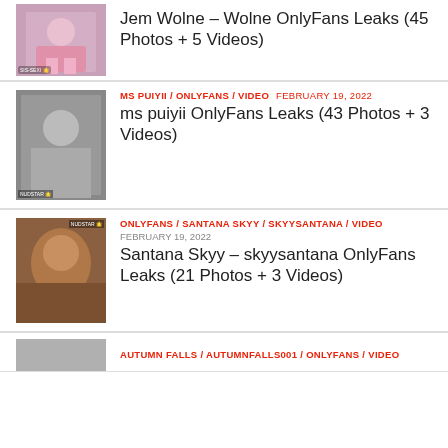[Figure (photo): Thumbnail image of woman in pink outfit crouching]
Jem Wolne – Wolne OnlyFans Leaks (45 Photos + 5 Videos)
MS PUIYII / ONLYFANS / VIDEO  FEBRUARY 19, 2022
[Figure (photo): Thumbnail image with blurred/censored content]
ms puiyii OnlyFans Leaks (43 Photos + 3 Videos)
ONLYFANS / SANTANA SKYY / SKYYSANTANA / VIDEO  FEBRUARY 19, 2022
[Figure (photo): Thumbnail image with blurred/censored content]
Santana Skyy – skyysantana OnlyFans Leaks (21 Photos + 3 Videos)
AUTUMN FALLS / AUTUMNFALLS001 / ONLYFANS / VIDEO